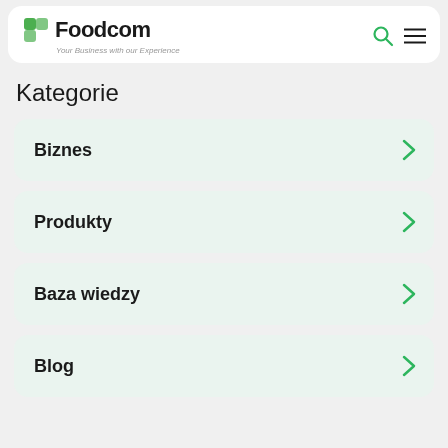Foodcom — Your Business with our Experience
Kategorie
Biznes
Produkty
Baza wiedzy
Blog